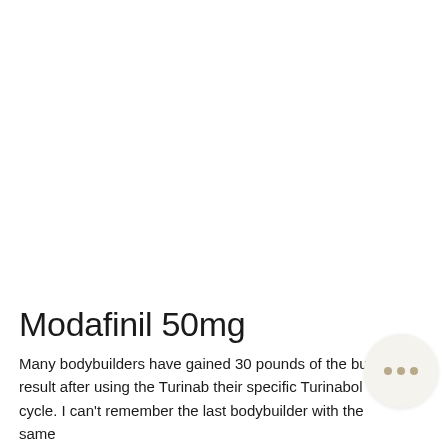Modafinil 50mg
Many bodybuilders have gained 30 pounds of the bulk result after using the Turinabol their specific Turinabol cycle. I can't remember the last bodybuilder with the same